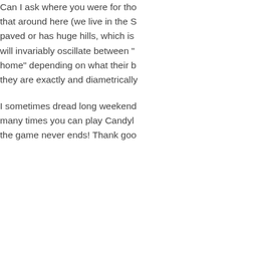Can I ask where you were for tho... that around here (we live in the S... paved or has huge hills, which is... will invariably oscillate between "... home" depending on what their b... they are exactly and diametrically...
I sometimes dread long weekend... many times you can play Candyl... the game never ends! Thank goo...
+ 0 — → Reply
[Figure (illustration): Gray circular avatar icon with silhouette of a person]
Sundry  🕐 12 years ago  ◀
Joe: the first few photos were tak... area – http://www.seattlepi.com/g... gorgeous, and our kids did pretty...